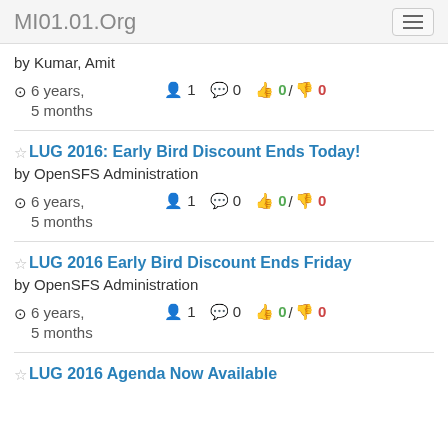MI01.01.Org
by Kumar, Amit
6 years, 5 months  1  0  0 / 0
LUG 2016: Early Bird Discount Ends Today!
by OpenSFS Administration
6 years, 5 months  1  0  0 / 0
LUG 2016 Early Bird Discount Ends Friday
by OpenSFS Administration
6 years, 5 months  1  0  0 / 0
LUG 2016 Agenda Now Available